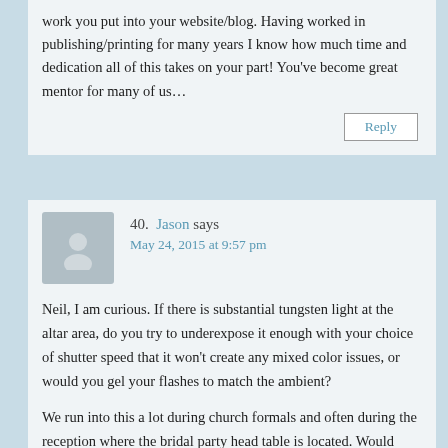work you put into your website/blog. Having worked in publishing/printing for many years I know how much time and dedication all of this takes on your part! You've become great mentor for many of us…
Reply
40. Jason says May 24, 2015 at 9:57 pm
Neil, I am curious. If there is substantial tungsten light at the altar area, do you try to underexpose it enough with your choice of shutter speed that it won't create any mixed color issues, or would you gel your flashes to match the ambient?
We run into this a lot during church formals and often during the reception where the bridal party head table is located. Would love to hear your thoughts on this Neil. thanks.